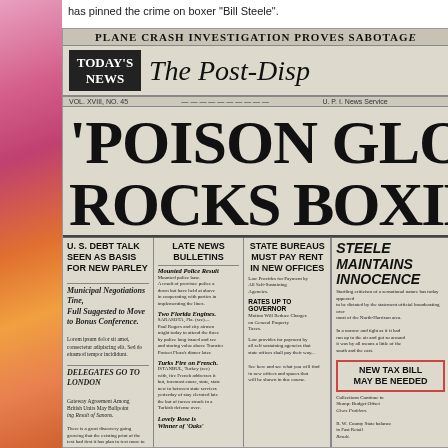has pinned the crime on boxer "Bill Steele".
[Figure (photo): Scanned front page of The Post-Dispatch newspaper with headline 'POISON GLOVE ROCKS BOXING'. Includes masthead with TODAY'S NEWS box, sub-headlines about U.S. Debt Talk, Late News Bulletins, State Bureaus Must Pay Rent, Steele Maintains Innocence, and New Tax Bill May Be Needed. Top banner reads PLANE CRASH INVESTIGATION PROVES SABOTAGE.]